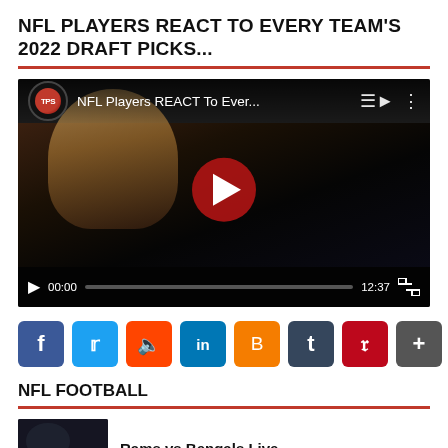NFL PLAYERS REACT TO EVERY TEAM'S 2022 DRAFT PICKS...
[Figure (screenshot): Embedded YouTube video player showing 'NFL Players REACT To Ever...' with crowd background image, red play button, and video controls showing 00:00 / 12:37]
[Figure (infographic): Row of social media share buttons: Facebook, Twitter, Reddit, LinkedIn, Blogger, Tumblr, Pinterest, and More (+)]
NFL FOOTBALL
[Figure (photo): Small thumbnail image for Rams vs Bengals article]
Rams vs Bengals Live